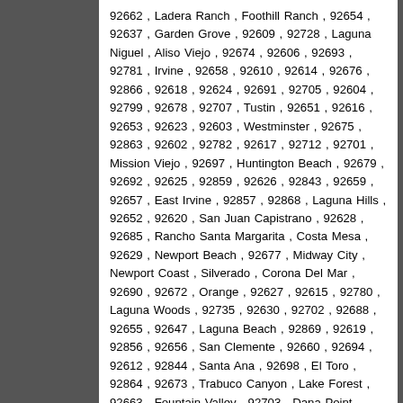92662 , Ladera Ranch , Foothill Ranch , 92654 , 92637 , Garden Grove , 92609 , 92728 , Laguna Niguel , Aliso Viejo , 92674 , 92606 , 92693 , 92781 , Irvine , 92658 , 92610 , 92614 , 92676 , 92866 , 92618 , 92624 , 92691 , 92705 , 92604 , 92799 , 92678 , 92707 , Tustin , 92651 , 92616 , 92653 , 92623 , 92603 , Westminster , 92675 , 92863 , 92602 , 92782 , 92617 , 92712 , 92701 , Mission Viejo , 92697 , Huntington Beach , 92679 , 92692 , 92625 , 92859 , 92626 , 92843 , 92659 , 92657 , East Irvine , 92857 , 92868 , Laguna Hills , 92652 , 92620 , San Juan Capistrano , 92628 , 92685 , Rancho Santa Margarita , Costa Mesa , 92629 , Newport Beach , 92677 , Midway City , Newport Coast , Silverado , Corona Del Mar , 92690 , 92672 , Orange , 92627 , 92615 , 92780 , Laguna Woods , 92735 , 92630 , 92702 , 92688 , 92655 , 92647 , Laguna Beach , 92869 , 92619 , 92856 , 92656 , San Clemente , 92660 , 92694 , 92612 , 92844 , Santa Ana , 92698 , El Toro , 92864 , 92673 , Trabuco Canyon , Lake Forest , 92663 , Fountain Valley , 92703 , Dana Point , 92650 , 92704 , 92605 , 92706 , 92708 , 92711 and more...